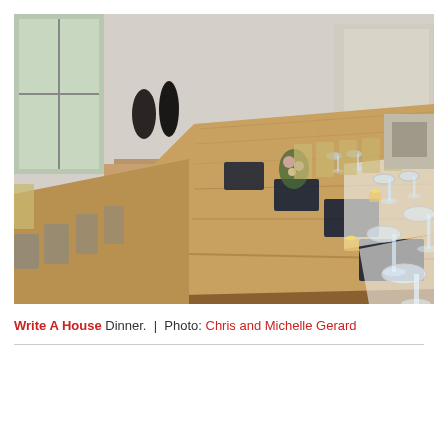[Figure (photo): Interior photograph of a long rustic wooden dining table set for a formal dinner, with dark navy napkins, wine glasses, candles, and floral centerpieces. Metal folding chairs line both sides. White brick walls and additional tables visible in the background.]
Write A House Dinner.  |  Photo: Chris and Michelle Gerard